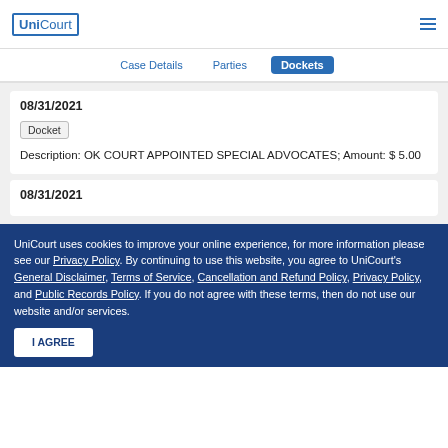UniCourt
Case Details  Parties  Dockets
08/31/2021
Docket  Description: OK COURT APPOINTED SPECIAL ADVOCATES; Amount: $ 5.00
08/31/2021
UniCourt uses cookies to improve your online experience, for more information please see our Privacy Policy. By continuing to use this website, you agree to UniCourt's General Disclaimer, Terms of Service, Cancellation and Refund Policy, Privacy Policy, and Public Records Policy. If you do not agree with these terms, then do not use our website and/or services.
I AGREE